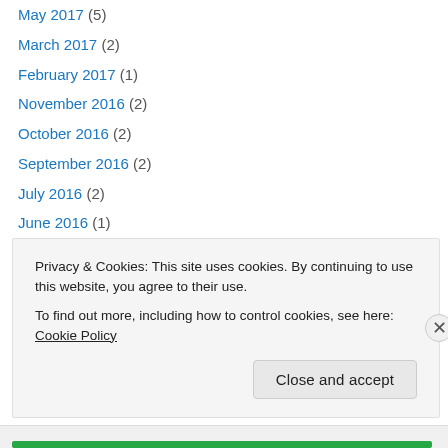May 2017 (5)
March 2017 (2)
February 2017 (1)
November 2016 (2)
October 2016 (2)
September 2016 (2)
July 2016 (2)
June 2016 (1)
March 2016 (2)
January 2016 (1)
December 2015 (1)
November 2015 (4)
September 2015 (3)
Privacy & Cookies: This site uses cookies. By continuing to use this website, you agree to their use. To find out more, including how to control cookies, see here: Cookie Policy